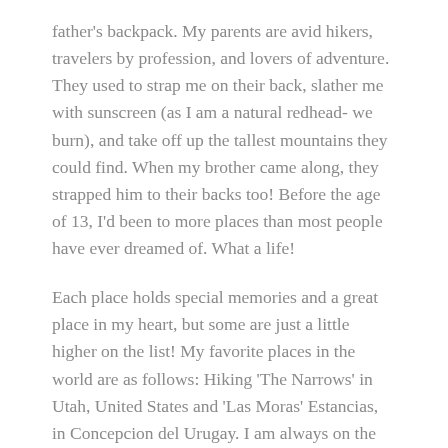father's backpack. My parents are avid hikers, travelers by profession, and lovers of adventure. They used to strap me on their back, slather me with sunscreen (as I am a natural redhead- we burn), and take off up the tallest mountains they could find. When my brother came along, they strapped him to their backs too! Before the age of 13, I'd been to more places than most people have ever dreamed of. What a life!
Each place holds special memories and a great place in my heart, but some are just a little higher on the list! My favorite places in the world are as follows: Hiking 'The Narrows' in Utah, United States and 'Las Moras' Estancias, in Concepcion del Urugay. I am always on the lookout for new favorites, but nothing has topped these places yet!
Follow me as I travel around my city, my country, and